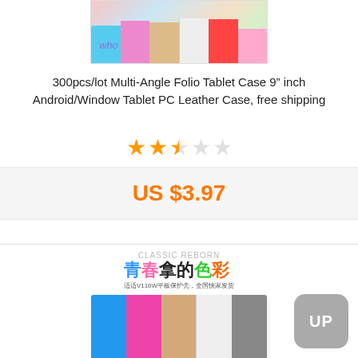[Figure (photo): Top portion of a product listing showing colorful tablet cases photo (cropped at top)]
300pcs/lot Multi-Angle Folio Tablet Case 9" inch Android/Window Tablet PC Leather Case, free shipping
[Figure (other): Star rating showing 2.5 out of 5 stars in orange]
US $3.97
[Figure (photo): Second product listing image showing colorful tablet cases with Chinese text 'CLASSIC REBORN' header and multicolored case display (blue, pink, beige, white, gray)]
[Figure (other): Gray UP button in bottom right corner]